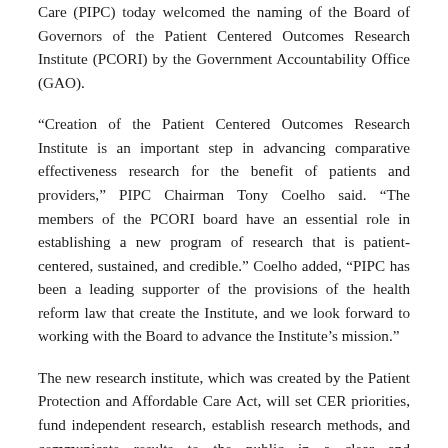Care (PIPC) today welcomed the naming of the Board of Governors of the Patient Centered Outcomes Research Institute (PCORI) by the Government Accountability Office (GAO).
“Creation of the Patient Centered Outcomes Research Institute is an important step in advancing comparative effectiveness research for the benefit of patients and providers,” PIPC Chairman Tony Coelho said. “The members of the PCORI board have an essential role in establishing a new program of research that is patient-centered, sustained, and credible.” Coelho added, “PIPC has been a leading supporter of the provisions of the health reform law that create the Institute, and we look forward to working with the Board to advance the Institute’s mission.”
The new research institute, which was created by the Patient Protection and Affordable Care Act, will set CER priorities, fund independent research, establish research methods, and communicate results to the public in a clear and understandable manner. The PCORI board includes a